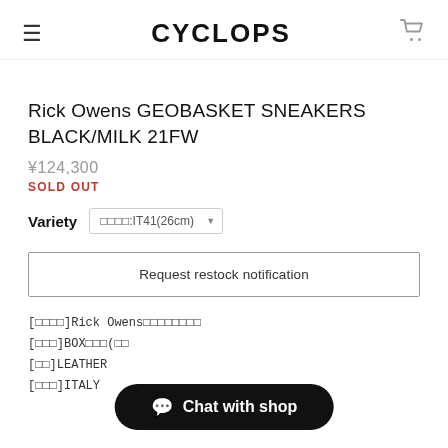CYCLOPS
Rick Owens GEOBASKET SNEAKERS BLACK/MILK 21FW
¥124,300
SOLD OUT
Variety  □□□□:IT41(26cm)
Request restock notification
[□□□□]Rick Owens□□□□□□□□
[□□□]BOX□□□(□□
[□□]LEATHER
[□□□]ITALY
Chat with shop